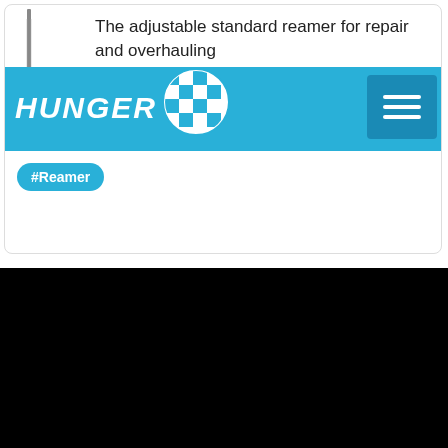The adjustable standard reamer for repair and overhauling
[Figure (logo): Hunger Werkzeug brand logo with blue background and Bavarian diamond pattern circle, white text HUNGER in bold italic]
#Reamer
[Figure (logo): Hunger Werkzeug brand logo in grayscale on black background]
Ludwig Hunger Werkzeug- und Maschinenfabr GmbH